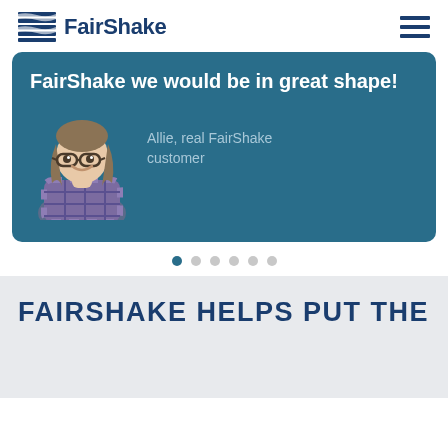FairShake
FairShake we would be in great shape!
Allie, real FairShake customer
[Figure (illustration): Smiling woman with glasses and braided hair wearing a plaid shirt — Allie, real FairShake customer testimonial photo]
FAIRSHAKE HELPS PUT THE